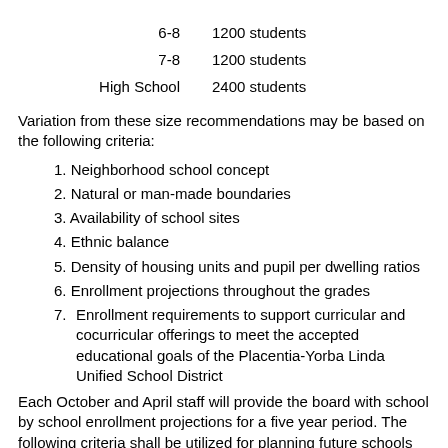| Grade | Capacity |
| --- | --- |
| 6-8 | 1200 students |
| 7-8 | 1200 students |
| High School | 2400 students |
Variation from these size recommendations may be based on the following criteria:
1. Neighborhood school concept
2. Natural or man-made boundaries
3. Availability of school sites
4. Ethnic balance
5. Density of housing units and pupil per dwelling ratios
6. Enrollment projections throughout the grades
7. Enrollment requirements to support curricular and cocurricular offerings to meet the accepted educational goals of the Placentia-Yorba Linda Unified School District
Each October and April staff will provide the board with school by school enrollment projections for a five year period. The following criteria shall be utilized for planning future schools with appropriate area or districtwide consideration:
1. Elementary Schools (K-6): three-year projections of 400 unhoused students and/or five-year projections of 800